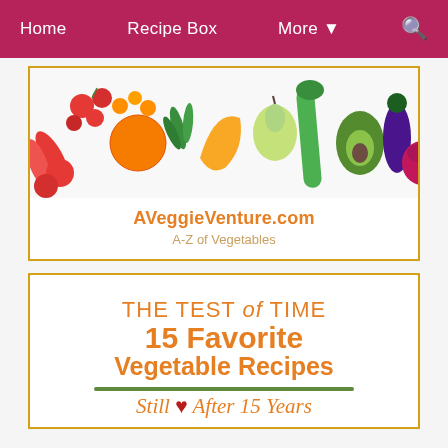Home   Recipe Box   More ▾
[Figure (photo): Banner photo of colorful vegetables and fruits including tomatoes, oranges, peppers, herbs, bananas, pears, zucchini, avocado, eggplant, and red onion arranged on a white background]
AVeggieVenture.com
A-Z of Vegetables
THE TEST of TIME 15 Favorite Vegetable Recipes Still ♥ After 15 Years